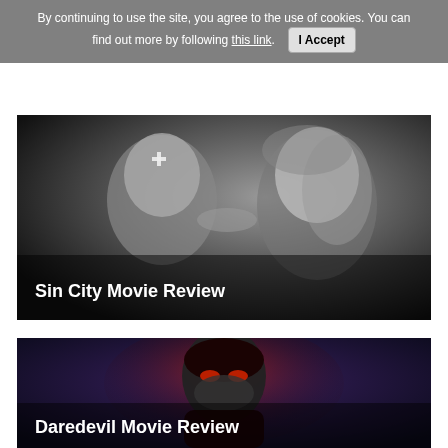By continuing to use the site, you agree to the use of cookies. You can find out more by following this link.  I Accept
[Figure (photo): Black and white movie still showing two people, a man with a cross/band-aid on his forehead and a woman with flowing hair, in a dramatic noir style scene. White bold text overlay reads 'Sin City Movie Review'.]
[Figure (photo): Dark purple-toned image of a superhero in a red and black Daredevil costume/mask, face close-up with glowing red eyes, dramatic lighting. White bold text overlay reads 'Daredevil Movie Review'.]